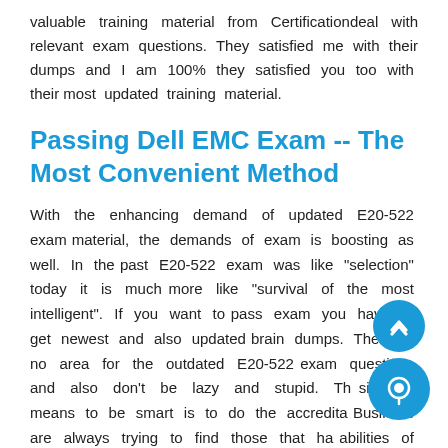valuable training material from Certificationdeal with relevant exam questions. They satisfied me with their dumps and I am 100% they satisfied you too with their most updated training material.
Passing Dell EMC Exam -- The Most Convenient Method
With the enhancing demand of updated E20-522 exam material, the demands of exam is boosting as well. In the past E20-522 exam was like "selection" today it is much more like "survival of the most intelligent". If you want to pass exam you have to get newest and also updated brain dumps. There is no area for the outdated E20-522 exam questions and also don't be lazy and stupid. The simplest means to be smart is to do the accreditation. Business are always trying to find those that have abilities of collaborating with modern technology.